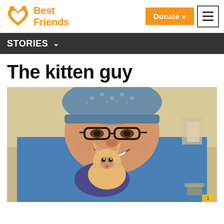Best Friends — Donate » [hamburger menu]
STORIES
The kitten guy
[Figure (photo): A smiling man wearing blue surgical scrubs and a patterned surgical cap and glasses holds a small orange/cream kitten up close to his chest in a medical or veterinary setting.]